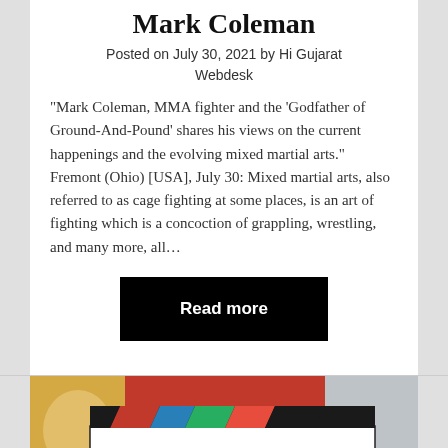Mark Coleman
Posted on July 30, 2021 by Hi Gujarat Webdesk
“Mark Coleman, MMA fighter and the ‘Godfather of Ground-And-Pound’ shares his views on the current happenings and the evolving mixed martial arts.” Fremont (Ohio) [USA], July 30: Mixed martial arts, also referred to as cage fighting at some places, is an art of fighting which is a concoction of grappling, wrestling, and many more, all…
Read more
[Figure (photo): Photo showing a colorful movie clapperboard with Ganesha idol in background and text partially visible at bottom reading HI MOVIE MAKERS]